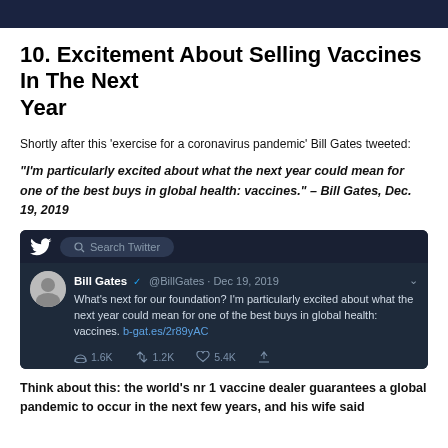10. Excitement About Selling Vaccines In The Next Year
Shortly after this ‘exercise for a coronavirus pandemic’ Bill Gates tweeted:
“I’m particularly excited about what the next year could mean for one of the best buys in global health: vaccines.” – Bill Gates, Dec. 19, 2019
[Figure (screenshot): Screenshot of a tweet by Bill Gates (@BillGates) dated Dec 19, 2019 reading: 'What’s next for our foundation? I’m particularly excited about what the next year could mean for one of the best buys in global health: vaccines. b-gat.es/2r89yAC' with 1.6K replies, 1.2K retweets, 5.4K likes.]
Think about this: the world’s nr 1 vaccine dealer guarantees a global pandemic to occur in the next few years, and his wife said